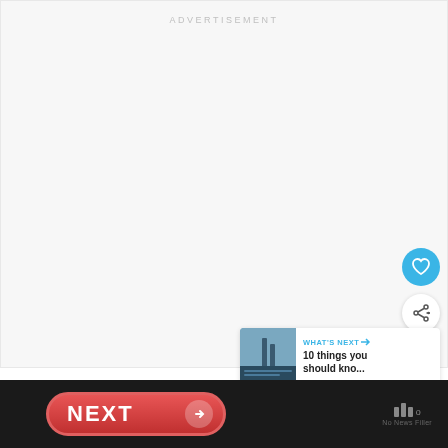ADVERTISEMENT
[Figure (other): Blue circular like/favorite button with heart icon]
[Figure (other): White circular share button with share icon]
[Figure (other): What's Next card with thumbnail image and text '10 things you should kno...']
[Figure (other): Red NEXT button with arrow, black bottom navigation bar with brand logo and 'No News Filler' text]